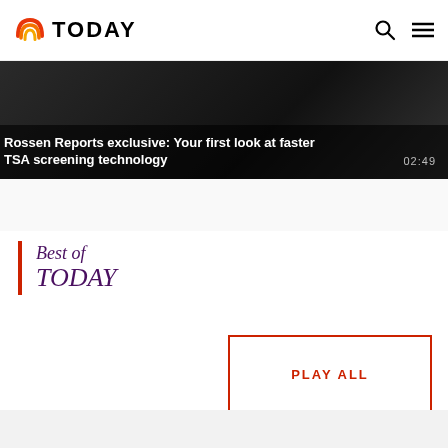TODAY
[Figure (screenshot): Video thumbnail: dark background showing TSA screening area. Overlay text: 'Rossen Reports exclusive: Your first look at faster TSA screening technology' with duration 02:49]
Rossen Reports exclusive: Your first look at faster TSA screening technology
Best of TODAY
[Figure (other): PLAY ALL button with red border]
PLAY ALL